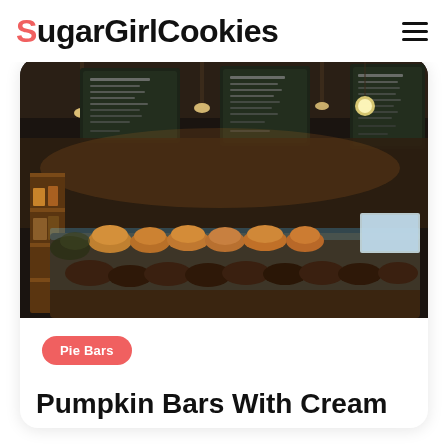SugarGirlCookies
[Figure (photo): Interior of a bakery/café with display cases full of baked goods, chalkboard menu boards on the wall, hanging lights, and wooden shelving with products.]
Pie Bars
Pumpkin Bars With Cream